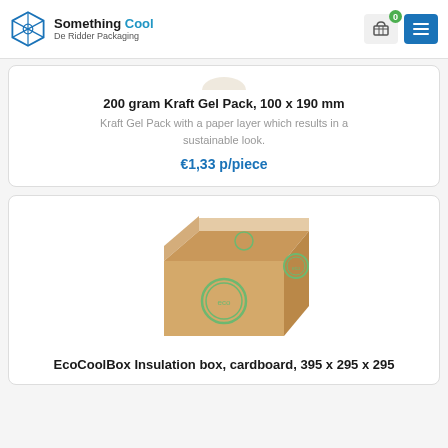Something Cool - De Ridder Packaging
[Figure (photo): Partial view of a Kraft Gel Pack product image at top of card]
200 gram Kraft Gel Pack, 100 x 190 mm
Kraft Gel Pack with a paper layer which results in a sustainable look.
€1,33 p/piece
[Figure (photo): EcoCoolBox insulation box made of cardboard, brown kraft box with green eco logos on the side]
EcoCoolBox Insulation box, cardboard, 395 x 295 x 295